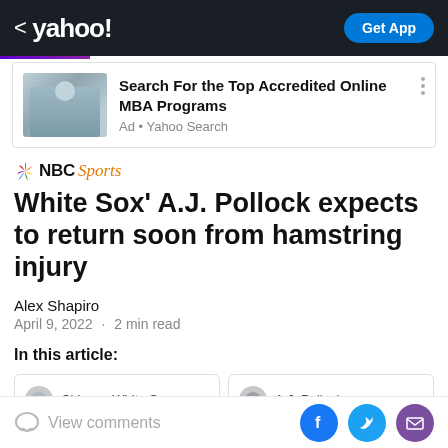< yahoo!  Get App
[Figure (screenshot): Yahoo app header bar with back chevron, Yahoo logo, and Get App button on dark background]
[Figure (photo): Ad image showing a woman at a desk with laptop, blurred background]
Search For the Top Accredited Online MBA Programs
Ad • Yahoo Search
[Figure (logo): NBC Sports logo with peacock icon]
White Sox' A.J. Pollock expects to return soon from hamstring injury
Alex Shapiro
April 9, 2022 · 2 min read
In this article:
Chicago White Sox
A.J. Pollock
View comments